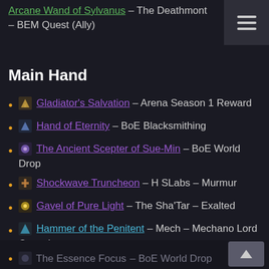Arcane Wand of Sylvanus – The Deathmont – BEM Quest (Ally)
Main Hand
Gladiator's Salvation – Arena Season 1 Reward
Hand of Eternity – BoE Blacksmithing
The Ancient Scepter of Sue-Min – BoE World Drop
Shockwave Truncheon – H SLabs – Murmur
Gavel of Pure Light – The Sha'Tar – Exalted
Hammer of the Penitent – Mech – Mechano Lord Capacitus
Dathrohan's Ceremonial Hammer – H OHF – Captain Skarloc
Lightsworn Hammer – SH – Warchief Kargath Bladefist
The Essence Focus – BoE World Drop